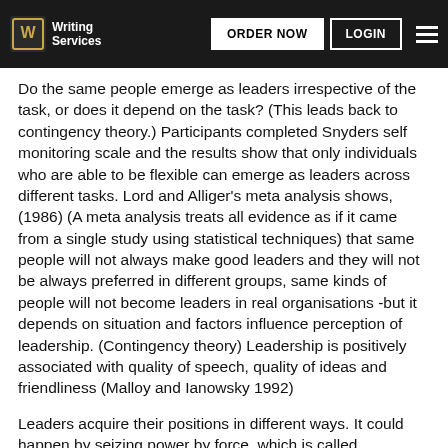Writing Services | ORDER NOW | LOGIN
Do the same people emerge as leaders irrespective of the task, or does it depend on the task? (This leads back to contingency theory.) Participants completed Snyders self monitoring scale and the results show that only individuals who are able to be flexible can emerge as leaders across different tasks. Lord and Alliger’s meta analysis shows, (1986) (A meta analysis treats all evidence as if it came from a single study using statistical techniques) that same people will not always make good leaders and they will not be always preferred in different groups, same kinds of people will not become leaders in real organisations -but it depends on situation and factors influence perception of leadership. (Contingency theory) Leadership is positively associated with quality of speech, quality of ideas and friendliness (Malloy and Ianowsky 1992)
Leaders acquire their positions in different ways. It could happen by seizing power by force, which is called usurpation or it can be inherited. Other ways are election/popular acclaim or appointment. It is essential to investigate how leaders emerge and what kinds of people become successful in this position. One of the theories discussing this topic is the Great Man Theory. It